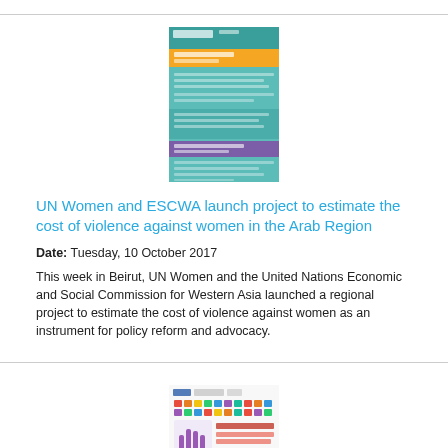[Figure (infographic): Thumbnail of an infographic document with teal/green color scheme and data tables]
UN Women and ESCWA launch project to estimate the cost of violence against women in the Arab Region
Date: Tuesday, 10 October 2017
This week in Beirut, UN Women and the United Nations Economic and Social Commission for Western Asia launched a regional project to estimate the cost of violence against women as an instrument for policy reform and advocacy.
[Figure (infographic): Thumbnail of a report cover about School-Related Gender-Based Violence with a purple hand icon]